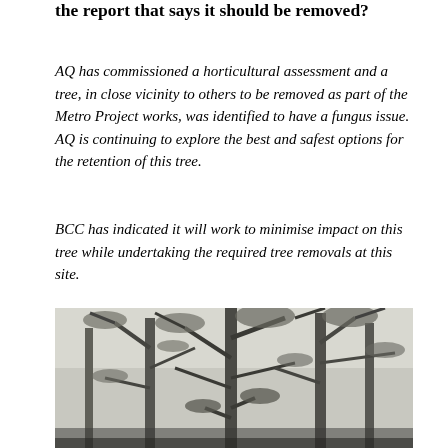the report that says it should be removed?
AQ has commissioned a horticultural assessment and a tree, in close vicinity to others to be removed as part of the Metro Project works, was identified to have a fungus issue.  AQ is continuing to explore the best and safest options for the retention of this tree.
BCC has indicated it will work to minimise impact on this tree while undertaking the required tree removals at this site.
[Figure (photo): Black and white photograph looking up through tall trees with branches and foliage against a light sky.]